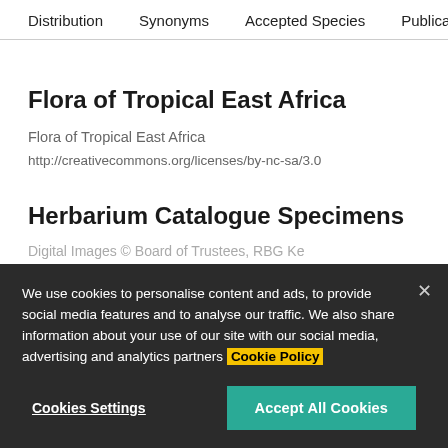Distribution   Synonyms   Accepted Species   Publicat
Flora of Tropical East Africa
Flora of Tropical East Africa
http://creativecommons.org/licenses/by-nc-sa/3.0
Herbarium Catalogue Specimens
Digital Images © Board of Trustees, RBG Ke
We use cookies to personalise content and ads, to provide social media features and to analyse our traffic. We also share information about your use of our site with our social media, advertising and analytics partners Cookie Policy
Cookies Settings
Accept All Cookies